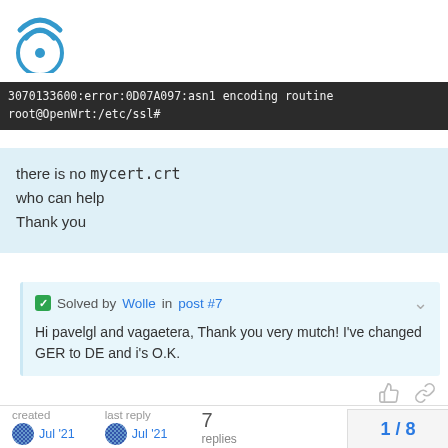[Figure (logo): OpenWrt logo — circular icon with wifi symbol]
3070133600:error:0D07A097:asn1 encoding routine
root@OpenWrt:/etc/ssl#
there is no mycert.crt
who can help
Thank you
Solved by Wolle in post #7
Hi pavelgl and vagaetera, Thank you very mutch! I've changed GER to DE and i's O.K.
created
Jul '21
last reply
Jul '21
7 replies
1 / 8